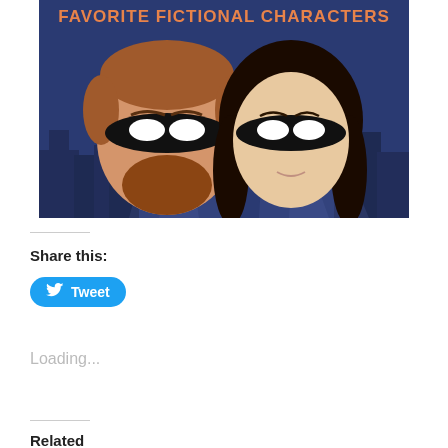[Figure (illustration): Cartoon illustration of two masked superhero faces (one male with brown beard, one female with dark hair) on a dark blue city background with spotlights. Orange bold text at top reads 'FAVORITE FICTIONAL CHARACTERS'.]
Share this:
[Figure (other): Tweet button — blue rounded rectangle with Twitter bird icon and 'Tweet' text in white]
Loading...
Related